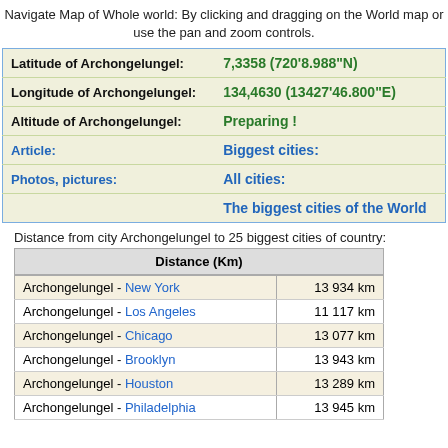Navigate Map of Whole world: By clicking and dragging on the World map or use the pan and zoom controls.
| Label | Value |
| --- | --- |
| Latitude of Archongelungel: | 7,3358 (720'8.988"N) |
| Longitude of Archongelungel: | 134,4630 (13427'46.800"E) |
| Altitude of Archongelungel: | Preparing ! |
| Article: | Biggest cities: |
| Photos, pictures: | All cities: |
|  | The biggest cities of the World |
Distance from city Archongelungel to 25 biggest cities of country:
| Distance (Km) |  |
| --- | --- |
| Archongelungel - New York | 13 934 km |
| Archongelungel - Los Angeles | 11 117 km |
| Archongelungel - Chicago | 13 077 km |
| Archongelungel - Brooklyn | 13 943 km |
| Archongelungel - Houston | 13 289 km |
| Archongelungel - Philadelphia | 13 945 km |